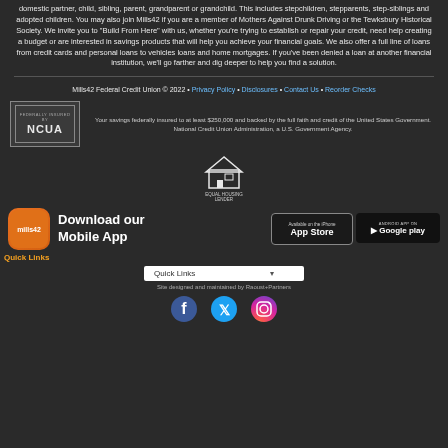domestic partner, child, sibling, parent, grandparent or grandchild. This includes stepchildren, stepparents, step-siblings and adopted children. You may also join Mills42 if you are a member of Mothers Against Drunk Driving or the Tewksbury Historical Society. We invite you to “Build From Here” with us, whether you’re trying to establish or repair your credit, need help creating a budget or are interested in savings products that will help you achieve your financial goals. We also offer a full line of loans from credit cards and personal loans to vehicles loans and home mortgages. If you’ve been denied a loan at another financial institution, we’ll go farther and dig deeper to help you find a solution.
Mills42 Federal Credit Union © 2022 • Privacy Policy • Disclosures • Contact Us • Reorder Checks
Your savings federally insured to at least $250,000 and backed by the full faith and credit of the United States Government. National Credit Union Administration, a U.S. Government Agency.
[Figure (logo): NCUA logo in a bordered box]
[Figure (logo): Equal Housing Lender logo]
[Figure (logo): Mills42 mobile app icon - orange rounded square]
Download our Mobile App
[Figure (logo): App Store download button]
[Figure (logo): Google Play download button]
Quick Links
Quick Links dropdown
Site designed and maintained by Raoust+Partners
[Figure (logo): Facebook, Twitter, Instagram social media icons]